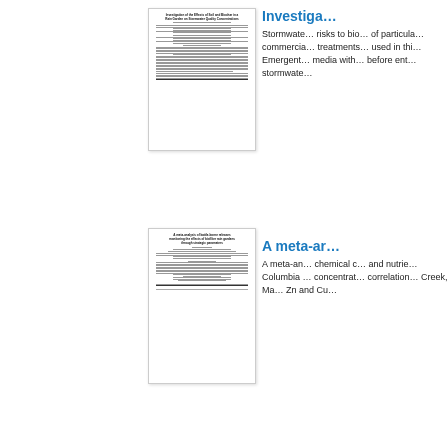[Figure (other): Thumbnail image of a document titled 'Investigation of the Effects of Soil and Biochar in a Rain Garden on Stormwater Quality Concentrations']
Investiga…
Stormwater risks to bio… of particula… commercial… treatments… used in thi… Emergent… media with… before ent… stormwate…
[Figure (other): Thumbnail image of a document titled 'A meta-analysis of battle-borne releases monitoring the effects of biofilter rain gardens through strategic parameters']
A meta-ar…
A meta-an… chemical c… and nutrie… Columbia … concentrat… correlation… Creek, Ma… Zn and Cu…